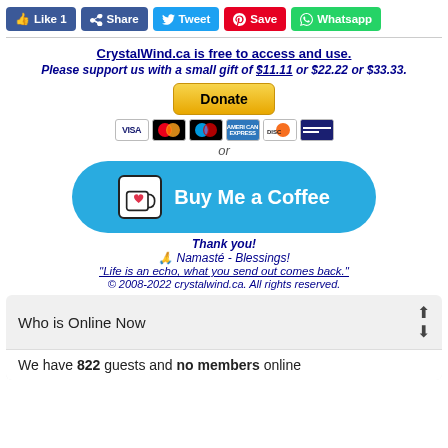[Figure (screenshot): Social media sharing buttons: Like 1, Share, Tweet, Save, Whatsapp]
CrystalWind.ca is free to access and use.
Please support us with a small gift of $11.11 or $22.22 or $33.33.
[Figure (other): Donate button with PayPal payment card icons (Visa, Mastercard, Amex, Discover)]
or
[Figure (other): Buy Me a Coffee button - teal rounded rectangle with cup icon and white text]
Thank you!
🙏 Namasté - Blessings!
"Life is an echo, what you send out comes back."
© 2008-2022 crystalwind.ca. All rights reserved.
Who is Online Now
We have 822 guests and no members online